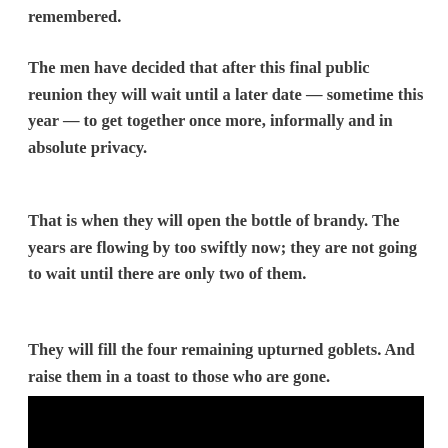remembered.
The men have decided that after this final public reunion they will wait until a later date — sometime this year — to get together once more, informally and in absolute privacy.
That is when they will open the bottle of brandy. The years are flowing by too swiftly now; they are not going to wait until there are only two of them.
They will fill the four remaining upturned goblets. And raise them in a toast to those who are gone.
[Figure (photo): Dark/black image at bottom of page, partially visible]